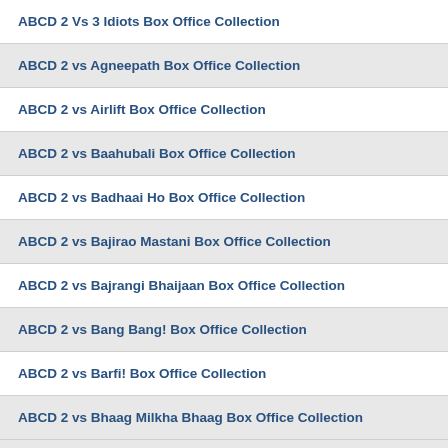ABCD 2 Vs 3 Idiots Box Office Collection
ABCD 2 vs Agneepath Box Office Collection
ABCD 2 vs Airlift Box Office Collection
ABCD 2 vs Baahubali Box Office Collection
ABCD 2 vs Badhaai Ho Box Office Collection
ABCD 2 vs Bajirao Mastani Box Office Collection
ABCD 2 vs Bajrangi Bhaijaan Box Office Collection
ABCD 2 vs Bang Bang! Box Office Collection
ABCD 2 vs Barfi! Box Office Collection
ABCD 2 vs Bhaag Milkha Bhaag Box Office Collection